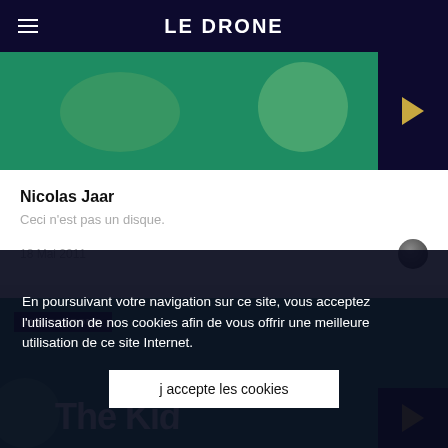LE DRONE
[Figure (screenshot): Green thumbnail image with play button, part of Nicolas Jaar article card]
Nicolas Jaar
Ceci n'est pas un disque.
18 Mai 2011
[Figure (screenshot): Green thumbnail image for #VIDEODROME section with large white text overlay]
En poursuivant votre navigation sur ce site, vous acceptez l'utilisation de nos cookies afin de vous offrir une meilleure utilisation de ce site Internet.
j accepte les cookies